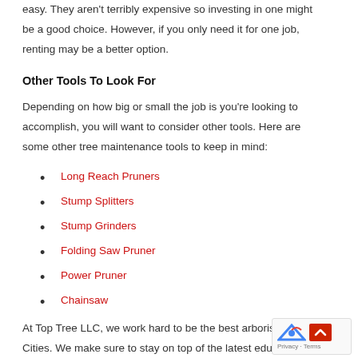easy. They aren't terribly expensive so investing in one might be a good choice. However, if you only need it for one job, renting may be a better option.
Other Tools To Look For
Depending on how big or small the job is you're looking to accomplish, you will want to consider other tools. Here are some other tree maintenance tools to keep in mind:
Long Reach Pruners
Stump Splitters
Stump Grinders
Folding Saw Pruner
Power Pruner
Chainsaw
At Top Tree LLC, we work hard to be the best arborists in th Cities. We make sure to stay on top of the latest education classes so that every job is done right. This knowledge makes sure